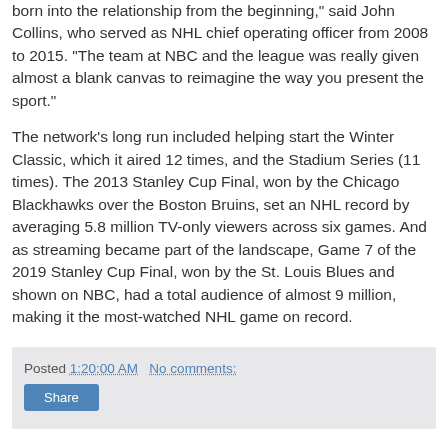born into the relationship from the beginning," said John Collins, who served as NHL chief operating officer from 2008 to 2015. "The team at NBC and the league was really given almost a blank canvas to reimagine the way you present the sport."
The network's long run included helping start the Winter Classic, which it aired 12 times, and the Stadium Series (11 times). The 2013 Stanley Cup Final, won by the Chicago Blackhawks over the Boston Bruins, set an NHL record by averaging 5.8 million TV-only viewers across six games. And as streaming became part of the landscape, Game 7 of the 2019 Stanley Cup Final, won by the St. Louis Blues and shown on NBC, had a total audience of almost 9 million, making it the most-watched NHL game on record.
Posted 1:20:00 AM   No comments:   Share
1M+ Cubans are Getting Internet